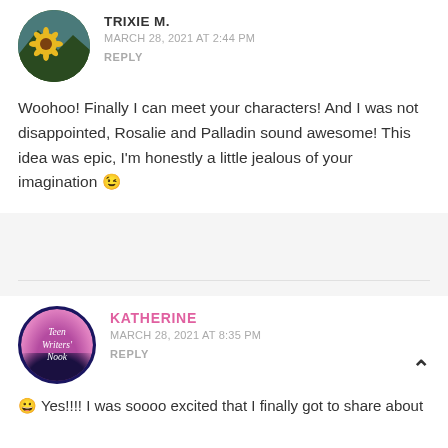TRIXIE M.
MARCH 28, 2021 AT 2:44 PM
REPLY
Woohoo! Finally I can meet your characters! And I was not disappointed, Rosalie and Palladin sound awesome! This idea was epic, I'm honestly a little jealous of your imagination 😉
KATHERINE
MARCH 28, 2021 AT 8:35 PM
REPLY
😀 Yes!!!! I was soooo excited that I finally got to share about